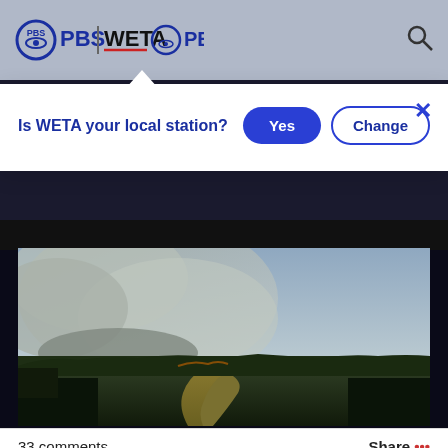PBS | WETA PBS
Is WETA your local station?
Yes
Change
[Figure (photo): Aerial view of a wildfire with large smoke plume over a forested landscape with a river or wetland, under a hazy sky.]
33 comments
Share •••